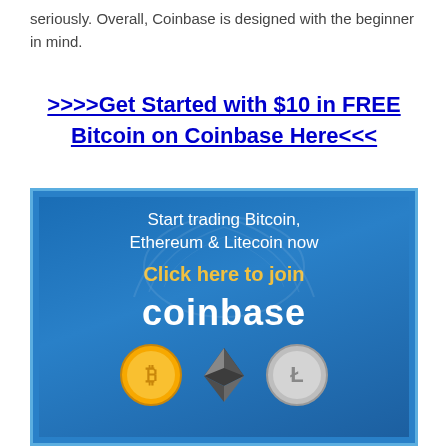seriously. Overall, Coinbase is designed with the beginner in mind.
>>>Get Started with $10 in FREE Bitcoin on Coinbase Here<<<
[Figure (illustration): Coinbase promotional banner ad with blue gradient background. Text reads: 'Start trading Bitcoin, Ethereum & Litecoin now', 'Click here to join', 'coinbase'. Shows Bitcoin (gold coin), Ethereum (dark diamond shape) and Litecoin (silver coin) icons at the bottom.]